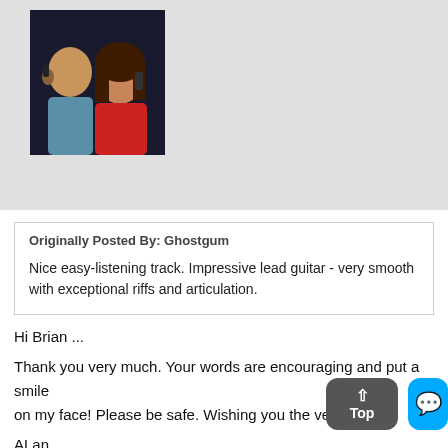[Figure (photo): Profile photo of a man and woman, both on phones, with dark background. Woman wearing red.]
Originally Posted By: Ghostgum

Nice easy-listening track. Impressive lead guitar - very smooth with exceptional riffs and articulation.
Hi Brian ...

Thank you very much. Your words are encouraging and put a smile on my face! Please be safe. Wishing you the very best ...

ALan
BIAB 2022 Ultra Plus-all StylePaks*Win10*8GB DDR4*I5-6th